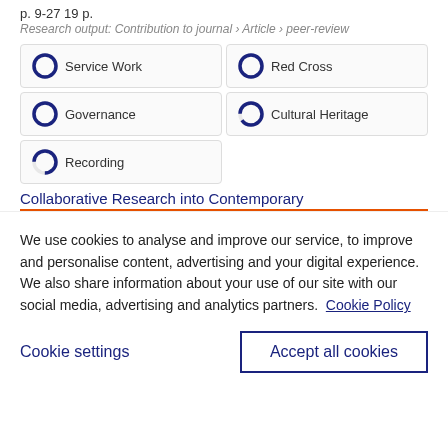p. 9-27 19 p.
Research output: Contribution to journal › Article › peer-review
[Figure (infographic): Five keyword badges in a grid: Service Work (100%), Red Cross (100%), Governance (100%), Cultural Heritage (90%), Recording (75%), each with a donut/circle icon indicating percentage fill]
Collaborative Research into Contemporary
We use cookies to analyse and improve our service, to improve and personalise content, advertising and your digital experience. We also share information about your use of our site with our social media, advertising and analytics partners.  Cookie Policy
Cookie settings
Accept all cookies